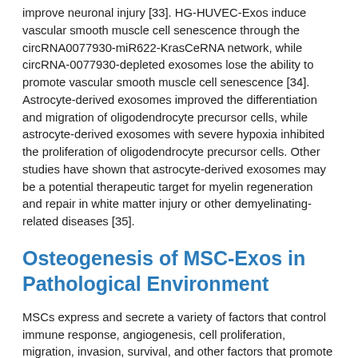improve neuronal injury [33]. HG-HUVEC-Exos induce vascular smooth muscle cell senescence through the circRNA0077930-miR622-KrasCeRNA network, while circRNA-0077930-depleted exosomes lose the ability to promote vascular smooth muscle cell senescence [34]. Astrocyte-derived exosomes improved the differentiation and migration of oligodendrocyte precursor cells, while astrocyte-derived exosomes with severe hypoxia inhibited the proliferation of oligodendrocyte precursor cells. Other studies have shown that astrocyte-derived exosomes may be a potential therapeutic target for myelin regeneration and repair in white matter injury or other demyelinating-related diseases [35].
Osteogenesis of MSC-Exos in Pathological Environment
MSCs express and secrete a variety of factors that control immune response, angiogenesis, cell proliferation, migration, invasion, survival, and other factors that promote tissue repair, and thus participate in tissue repair, immune regulation, and anti-inflammation [36]. MSC-Exos retain most of the functions of MSC, and their role in osteogenesis can be classified into 4 aspects: (1) reducing cell apoptosis in an ischemic and necrotic microenvironment; (2) chemotaxis and proliferation of other